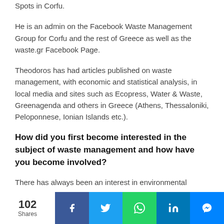Spots in Corfu.
He is an admin on the Facebook Waste Management Group for Corfu and the rest of Greece as well as the waste.gr Facebook Page.
Theodoros has had articles published on waste management, with economic and statistical analysis, in local media and sites such as Ecopress, Water & Waste, Greenagenda and others in Greece (Athens, Thessaloniki, Peloponnese, Ionian Islands etc.).
How did you first become interested in the subject of waste management and how have you become involved?
There has always been an interest in environmental
102 Shares  [Facebook] [Twitter] [WhatsApp] [LinkedIn] [Messenger]